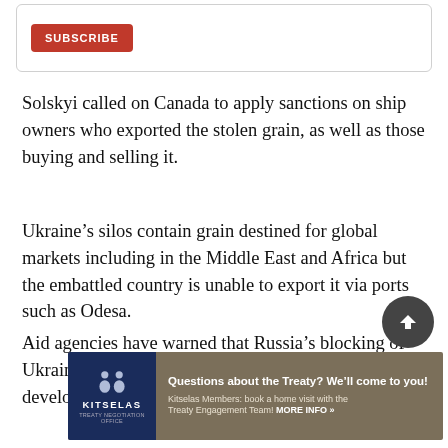[Figure (other): Subscribe button inside a rounded card/box at the top of the page]
Solskyi called on Canada to apply sanctions on ship owners who exported the stolen grain, as well as those buying and selling it.
Ukraine’s silos contain grain destined for global markets including in the Middle East and Africa but the embattled country is unable to export it via ports such as Odesa.
Aid agencies have warned that Russia’s blocking of Ukraine’s ports could lead to starvation in the developing world.
[Figure (other): Back-to-top circular dark button with upward chevron icon]
[Figure (other): Kitselas advertisement banner: Questions about the Treaty? We’ll come to you! Kitselas Members: book a home visit with the Treaty Engagement Team! MORE INFO »]